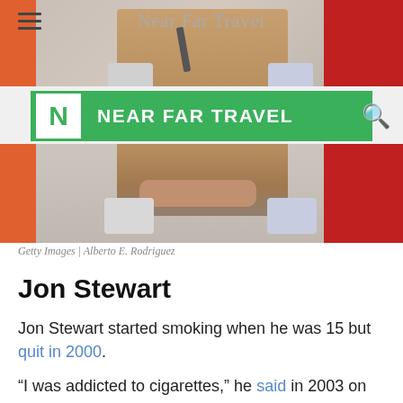[Figure (photo): Screenshot of Near Far Travel website showing a woman with blonde hair holding a microphone, wearing a light brown blouse, seated in a chair against a blue/red background. Navigation bar with Near Far Travel logo overlaid.]
Getty Images | Alberto E. Rodriguez
Jon Stewart
Jon Stewart started smoking when he was 15 but quit in 2000.
“I was addicted to cigarettes,” he said in 2003 on Martin Short’s show “Primetime Glick.” “I